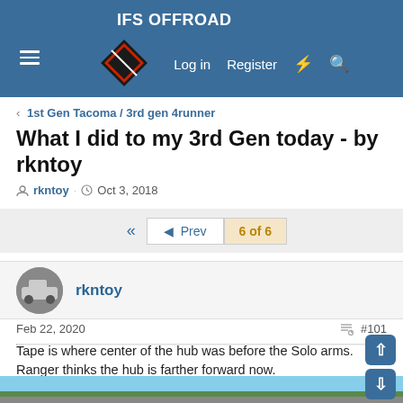IFS OFFROAD
1st Gen Tacoma / 3rd gen 4runner
What I did to my 3rd Gen today - by rkntoy
rkntoy · Oct 3, 2018
Prev  6 of 6
rkntoy
Feb 22, 2020  #101
Tape is where center of the hub was before the Solo arms. Ranger thinks the hub is farther forward now.
[Figure (photo): Outdoor photo of a truck/SUV with a roof rack, near a wooden pole and a building with a dark doorway, blue sky with trees in background.]